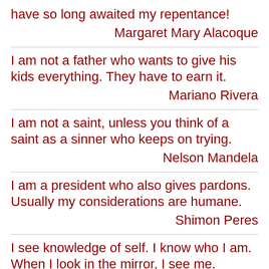have so long awaited my repentance!
Margaret Mary Alacoque
I am not a father who wants to give his kids everything. They have to earn it.
Mariano Rivera
I am not a saint, unless you think of a saint as a sinner who keeps on trying.
Nelson Mandela
I am a president who also gives pardons. Usually my considerations are humane.
Shimon Peres
I see knowledge of self. I know who I am. When I look in the mirror, I see me.